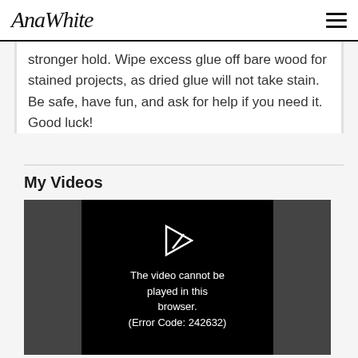AnaWhite
stronger hold. Wipe excess glue off bare wood for stained projects, as dried glue will not take stain. Be safe, have fun, and ask for help if you need it. Good luck!
My Videos
[Figure (screenshot): Video player showing error message: The video cannot be played in this browser. (Error Code: 242632)]